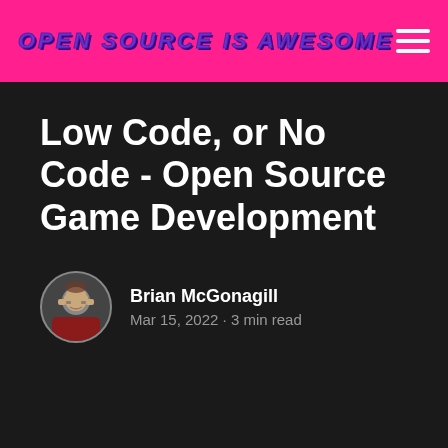OPEN SOURCE IS AWESOME
Low Code, or No Code - Open Source Game Development
Brian McGonagill
Mar 15, 2022 • 3 min read